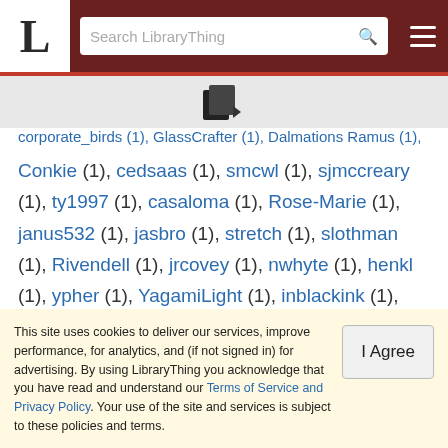LibraryThing — Search LibraryThing header with logo and navigation
corporate_birds (1), GlassCrafter (1), Dalmations Ramus (1),
Conkie (1), cedsaas (1), smcwl (1), sjmccreary (1), ty1997 (1), casaloma (1), Rose-Marie (1), janus532 (1), jasbro (1), stretch (1), slothman (1), Rivendell (1), jrcovey (1), nwhyte (1), henkl (1), ypher (1), YagamiLight (1), inblackink (1), mentatjack (1)
This site uses cookies to deliver our services, improve performance, for analytics, and (if not signed in) for advertising. By using LibraryThing you acknowledge that you have read and understand our Terms of Service and Privacy Policy. Your use of the site and services is subject to these policies and terms.